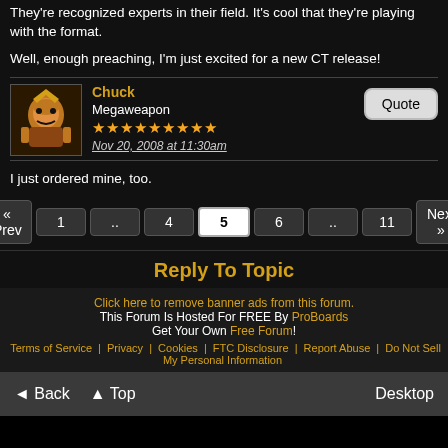They're recognized experts in their field. It's cool that they're playing with the format.
Well, enough preaching, I'm just excited for a new CT release!
Chuck
Megaweapon
★★★★★★★★★
Nov 20, 2008 at 11:30am
I just ordered mine, too.
« Prev  1  ..  4  5  6  ..  11  Next »
Reply To Topic
Click here to remove banner ads from this forum.
This Forum Is Hosted For FREE By ProBoards
Get Your Own Free Forum!
Terms of Service  Privacy  Cookies  FTC Disclosure  Report Abuse  Do Not Sell My Personal Information
◄ Back  ▲ Top  Desktop